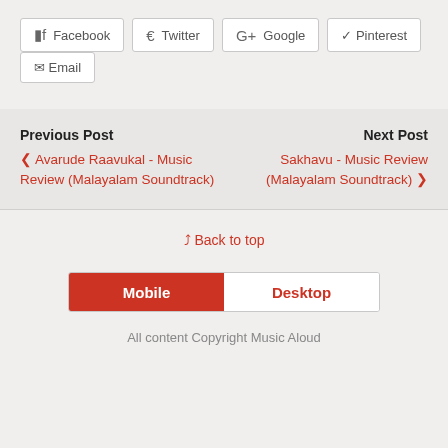Facebook
Twitter
Google
Pinterest
Email
Previous Post
❮ Avarude Raavukal - Music Review (Malayalam Soundtrack)
Next Post
Sakhavu - Music Review (Malayalam Soundtrack) ❯
☰ Back to top
Mobile
Desktop
All content Copyright Music Aloud